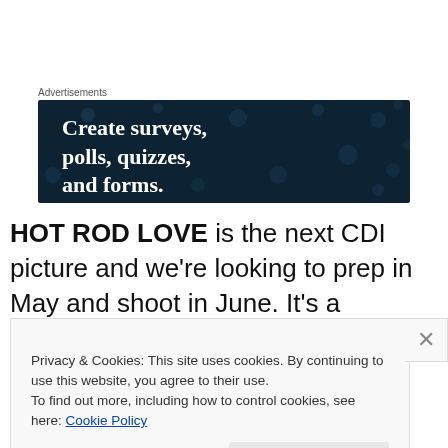Advertisements
[Figure (illustration): Dark navy advertisement banner with white bold serif text reading: Create surveys, polls, quizzes, and forms. Background has scattered light dot pattern.]
HOT ROD LOVE is the next CDI picture and we're looking to prep in May and shoot in June. It's a heartfelt comedy that has many classic 70's and 80's influences. We're
Privacy & Cookies: This site uses cookies. By continuing to use this website, you agree to their use.
To find out more, including how to control cookies, see here: Cookie Policy
Close and accept